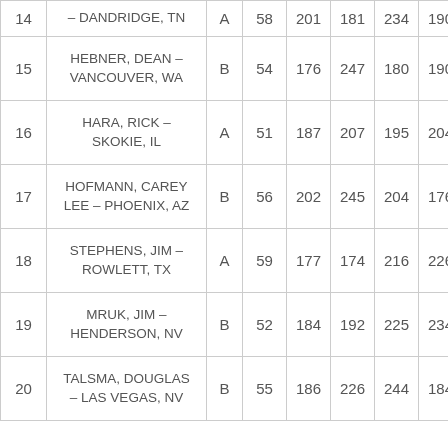| # | Name | Class | Col1 | Col2 | Col3 | Col4 | Col5 |
| --- | --- | --- | --- | --- | --- | --- | --- |
| 14 | – DANDRIDGE, TN | A | 58 | 201 | 181 | 234 | 190 |
| 15 | HEBNER, DEAN – VANCOUVER, WA | B | 54 | 176 | 247 | 180 | 190 |
| 16 | HARA, RICK – SKOKIE, IL | A | 51 | 187 | 207 | 195 | 204 |
| 17 | HOFMANN, CAREY LEE – PHOENIX, AZ | B | 56 | 202 | 245 | 204 | 176 |
| 18 | STEPHENS, JIM – ROWLETT, TX | A | 59 | 177 | 174 | 216 | 226 |
| 19 | MRUK, JIM – HENDERSON, NV | B | 52 | 184 | 192 | 225 | 234 |
| 20 | TALSMA, DOUGLAS – LAS VEGAS, NV | B | 55 | 186 | 226 | 244 | 184 |